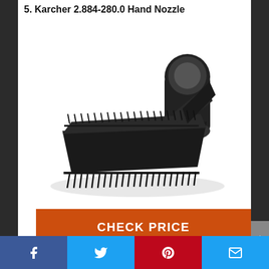5. Karcher 2.884-280.0 Hand Nozzle
[Figure (photo): Black Karcher 2.884-280.0 hand nozzle brush attachment for vacuum cleaner, showing bristles and connector tube, photographed on white background with shadow.]
CHECK PRICE
Feature
Facebook | Twitter | Pinterest | Email